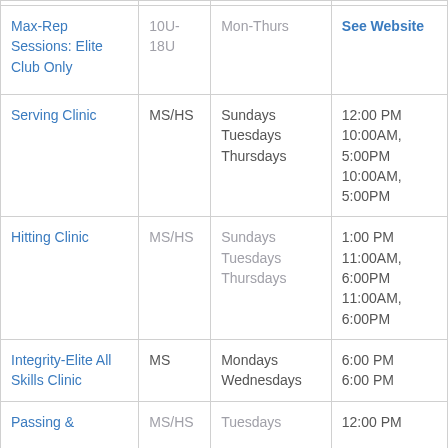| Program | Age/Level | Days | Time |
| --- | --- | --- | --- |
| Max-Rep Sessions: Elite Club Only | 10U-18U | Mon-Thurs | See Website |
| Serving Clinic | MS/HS | Sundays
Tuesdays
Thursdays | 12:00 PM
10:00AM, 5:00PM
10:00AM, 5:00PM |
| Hitting Clinic | MS/HS | Sundays
Tuesdays
Thursdays | 1:00 PM
11:00AM, 6:00PM
11:00AM, 6:00PM |
| Integrity-Elite All Skills Clinic | MS | Mondays
Wednesdays | 6:00 PM
6:00 PM |
| Passing & | MS/HS | Tuesdays | 12:00 PM |